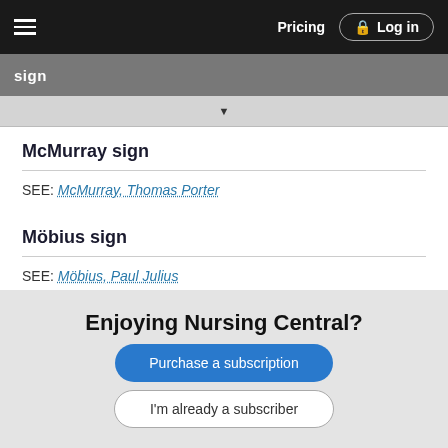Pricing  Log in
sign
McMurray sign
SEE: McMurray, Thomas Porter
Möbius sign
SEE: Möbius, Paul Julius
Munson sign
Enjoying Nursing Central?
Purchase a subscription
I'm already a subscriber